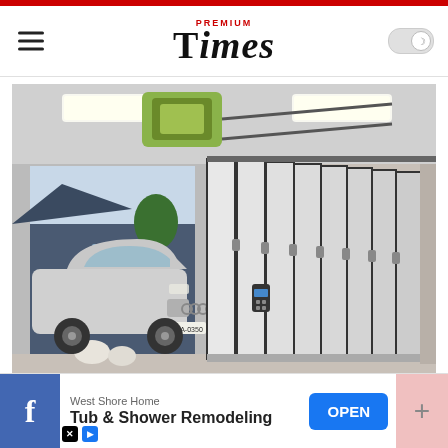PREMIUM Times
[Figure (photo): Modern garage with a large folding/sliding door system open to the side, revealing an Audi SUV parked outside a contemporary dark-colored house. The interior shows a ceiling-mounted garage door mechanism with a yellow component.]
Garage Door Replacement Near Ashburn (Take a Look at the Prices)
West Shore Home — Tub & Shower Remodeling — OPEN (advertisement)